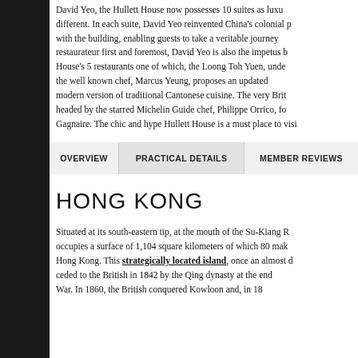David Yeo, the Hullett House now possesses 10 suites as luxurious as different. In each suite, David Yeo reinvented China's colonial past with the building, enabling guests to take a veritable journey... restaurateur first and foremost, David Yeo is also the impetus behind House's 5 restaurants one of which, the Loong Toh Yuen, under the well known chef, Marcus Yeung, proposes an updated modern version of traditional Cantonese cuisine. The very Brit headed by the starred Michelin Guide chef, Philippe Orrico, former of Gagnaire. The chic and hype Hullett House is a must place to visit.
| OVERVIEW | PRACTICAL DETAILS | MEMBER REVIEWS |
| --- | --- | --- |
HONG KONG
Situated at its south-eastern tip, at the mouth of the Su-Kiang River, occupies a surface of 1,104 square kilometers of which 80 make up Hong Kong. This strategically located island, once an almost deserted, ceded to the British in 1842 by the Qing dynasty at the end of the Opium War. In 1860, the British conquered Kowloon and, in 18...